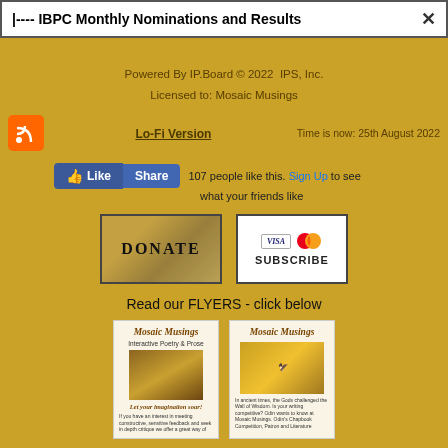|---- IBPC Monthly Nominations and Results
Powered By IP.Board © 2022  IPS, Inc.
Licensed to: Mosaic Musings
Lo-Fi Version    Time is now: 25th August 2022
[Figure (screenshot): Facebook Like and Share buttons with text '107 people like this. Sign Up to see what your friends like']
[Figure (screenshot): DONATE button with parchment background image]
[Figure (screenshot): SUBSCRIBE button with Visa and Mastercard logos]
Read our FLYERS - click below
[Figure (illustration): Mosaic Musings flyer 1 - Interactive Poetry & Prose with quill pen image and text 'Let your imagination soar!']
[Figure (illustration): Mosaic Musings flyer 2 with dragon/bird image and text about writing competition]